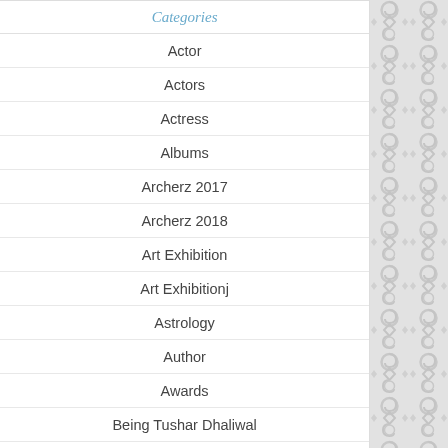Categories
Actor
Actors
Actress
Albums
Archerz 2017
Archerz 2018
Art Exhibition
Art Exhibitionj
Astrology
Author
Awards
Being Tushar Dhaliwal
[Figure (illustration): Decorative ornamental pattern on the right side panel with grey swirls and diamond shapes on light grey background]